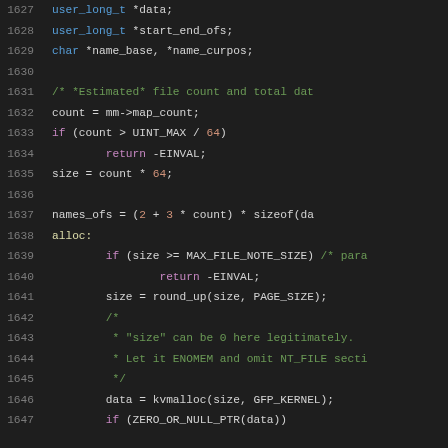Source code listing lines 1627-1647 showing C code with syntax highlighting